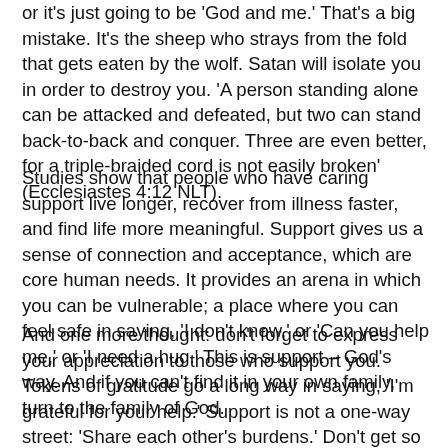or it's just going to be 'God and me.' That's a big mistake. It's the sheep who strays from the fold that gets eaten by the wolf. Satan will isolate you in order to destroy you. 'A person standing alone can be attacked and defeated, but two can stand back-to-back and conquer. Three are even better, for a triple-braided cord is not easily broken' (Ecclesiastes 4:12 NLT).
Studies show that people who have caring support live longer, recover from illness faster, and find life more meaningful. Support gives us a sense of connection and acceptance, which are core human needs. It provides an arena in which you can be vulnerable; a place where you can feel safe in saying, 'I don't know,' or 'Can you help me,' or 'I need a hug.' This is support – God's way. And if you can't find it in your own family, turn to the family of God.
And one more thought: don't forget to express your appreciation to those who support you. Tokens of gratitude go a long way in saying, 'I'm grateful for your help.' Support is not a one-way street: 'Share each other's burdens.' Don't get so engrossed in your own problems that you forget others have problems too. Take the time to inquire about their concerns. No one likes a taker. It's in